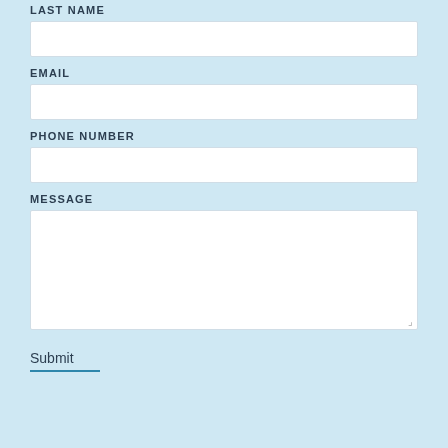LAST NAME
EMAIL
PHONE NUMBER
MESSAGE
Submit